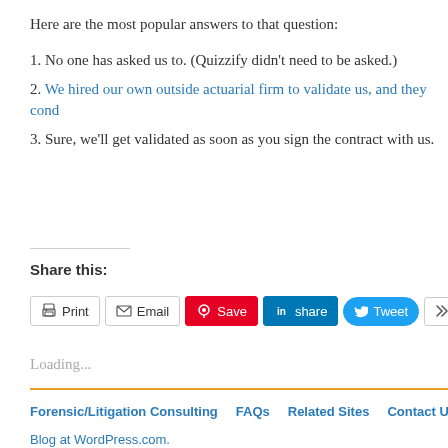Here are the most popular answers to that question:
1. No one has asked us to. (Quizzify didn't need to be asked.)
2. We hired our own outside actuarial firm to validate us, and they cond
3. Sure, we'll get validated as soon as you sign the contract with us.
Share this:
Loading...
Forensic/Litigation Consulting  FAQs  Related Sites  Contact Us  FAQs
Blog at WordPress.com.